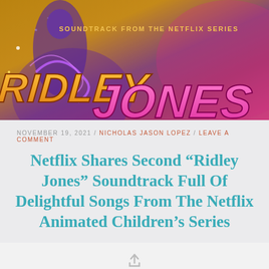[Figure (illustration): Ridley Jones Netflix soundtrack album cover art showing animated character in purple suit with glowing effects. Text reads 'SOUNDTRACK FROM THE NETFLIX SERIES' with large stylized 'RIDLEY JONES' lettering in orange and pink on a warm golden-brown background.]
NOVEMBER 19, 2021 / NICHOLAS JASON LOPEZ / LEAVE A COMMENT
Netflix Shares Second “Ridley Jones” Soundtrack Full Of Delightful Songs From The Netflix Animated Children’s Series